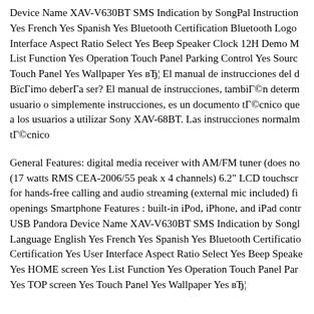Device Name XAV-V630BT SMS Indication by SongPal Instruction Yes French Yes Spanish Yes Bluetooth Certification Bluetooth Logo Interface Aspect Ratio Select Yes Beep Speaker Clock 12H Demo M List Function Yes Operation Touch Panel Parking Control Yes Soure Touch Panel Yes Wallpaper Yes вЂ¦ El manual de instrucciones del d BïcГimo deberГa ser? El manual de instrucciones, tambiГ©n determ usuario o simplemente instrucciones, es un documento tГ©cnico que a los usuarios a utilizar Sony XAV-68BT. Las instrucciones normalm tГ©cnico
General Features: digital media receiver with AM/FM tuner (does no (17 watts RMS CEA-2006/55 peak x 4 channels) 6.2" LCD touchscr for hands-free calling and audio streaming (external mic included) fi openings Smartphone Features : built-in iPod, iPhone, and iPad contr USB Pandora Device Name XAV-V630BT SMS Indication by Songl Language English Yes French Yes Spanish Yes Bluetooth Certificatio Certification Yes User Interface Aspect Ratio Select Yes Beep Speake Yes HOME screen Yes List Function Yes Operation Touch Panel Par Yes TOP screen Yes Touch Panel Yes Wallpaper Yes вЂ¦